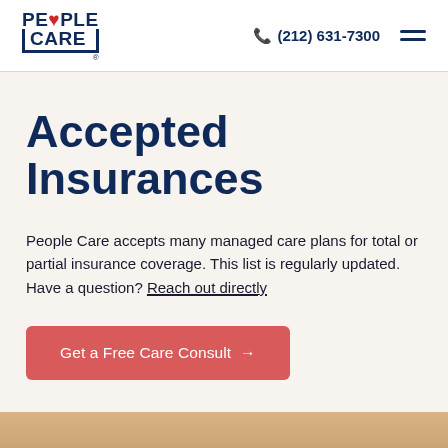People Care | (212) 631-7300
Accepted Insurances
People Care accepts many managed care plans for total or partial insurance coverage. This list is regularly updated. Have a question? Reach out directly
Get a Free Care Consult →